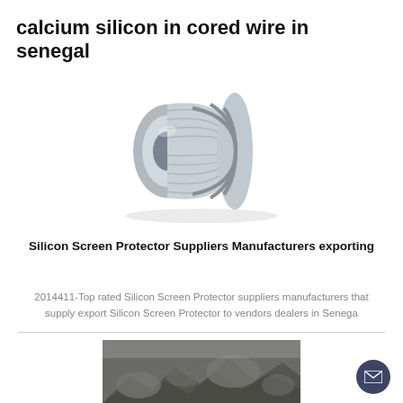calcium silicon in cored wire in senegal
[Figure (photo): A metallic coiled wire spool, silver/grey in color, photographed against a white background. The spool appears to be a calcium silicon cored wire product.]
Silicon Screen Protector Suppliers Manufacturers exporting
2014411-Top rated Silicon Screen Protector suppliers manufacturers that supply export Silicon Screen Protector to vendors dealers in Senega
[Figure (photo): A close-up photo of rough rocky/mineral material, appearing grayish in color, partially visible at the bottom of the page.]